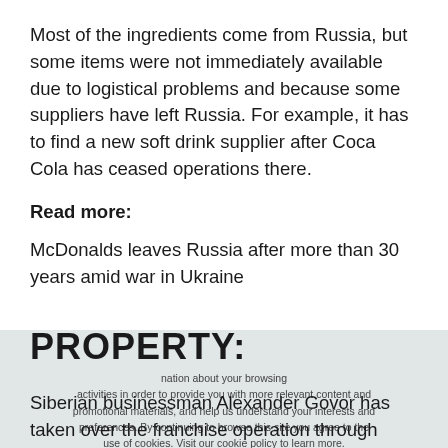Most of the ingredients come from Russia, but some items were not immediately available due to logistical problems and because some suppliers have left Russia. For example, it has to find a new soft drink supplier after Coca Cola has ceased operations there.
Read more:
McDonalds leaves Russia after more than 30 years amid war in Ukraine
PROPERTY:
Siberian businessman Alexander Govor has taken over the franchise operation through